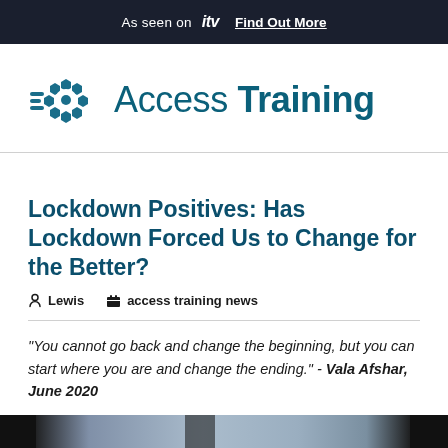As seen on itv  Find Out More
[Figure (logo): Access Training logo — circular gear/cog icon in teal blue with horizontal speed lines, followed by text 'Access Training']
Lockdown Positives: Has Lockdown Forced Us to Change for the Better?
Lewis   access training news
"You cannot go back and change the beginning, but you can start where you are and change the ending." - Vala Afshar, June 2020
[Figure (photo): Partial photo showing dark vertical elements on left and right sides with a lighter blue-grey background in the center]